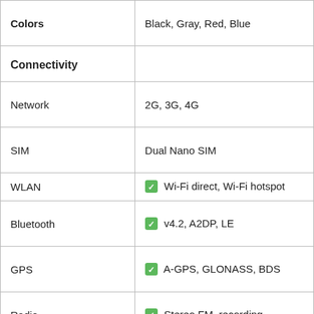| Feature | Value |
| --- | --- |
| Colors | Black, Gray, Red, Blue |
| Connectivity |  |
| Network | 2G, 3G, 4G |
| SIM | Dual Nano SIM |
| WLAN | ✅ Wi-Fi direct, Wi-Fi hotspot |
| Bluetooth | ✅ v4.2, A2DP, LE |
| GPS | ✅ A-GPS, GLONASS, BDS |
| Radio | ✅ Stereo FM, recording |
| USB | v2.0 |